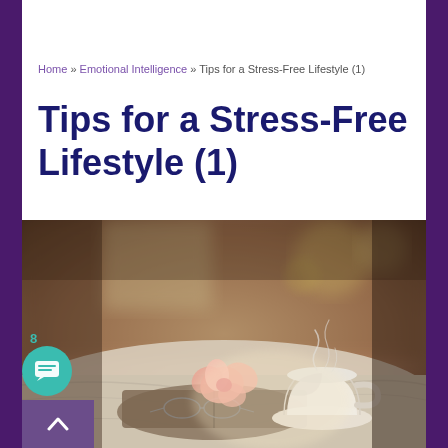Home » Emotional Intelligence » Tips for a Stress-Free Lifestyle (1)
Tips for a Stress-Free Lifestyle (1)
[Figure (photo): A cozy scene of a steaming cup of tea on a saucer beside an open book with a peach flower, set on rumpled white linens in soft warm bokeh light — evocative of relaxation and a stress-free lifestyle.]